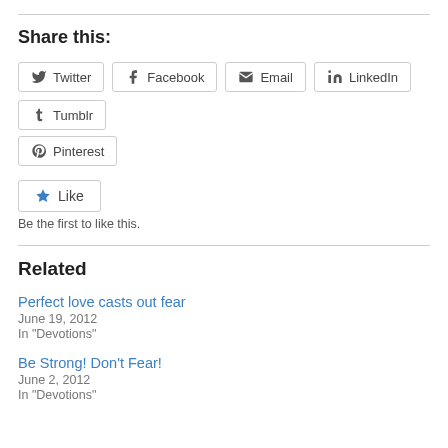Share this:
[Figure (infographic): Row of social share buttons: Twitter, Facebook, Email, LinkedIn, Tumblr, and Pinterest]
[Figure (infographic): Like button with blue star icon]
Be the first to like this.
Related
Perfect love casts out fear
June 19, 2012
In "Devotions"
Be Strong! Don't Fear!
June 2, 2012
In "Devotions"